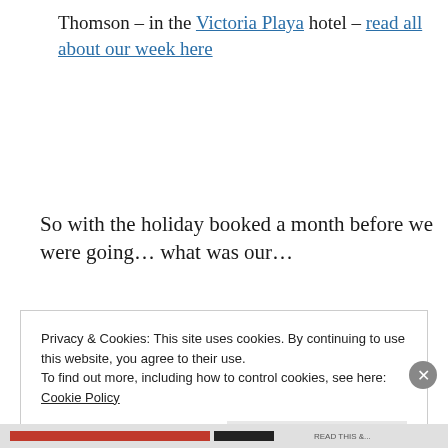Thomson – in the Victoria Playa hotel – read all about our week here
So with the holiday booked a month before we were going… what was our…
Privacy & Cookies: This site uses cookies. By continuing to use this website, you agree to their use.
To find out more, including how to control cookies, see here:
Cookie Policy

Close and accept